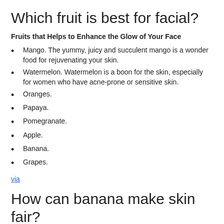Which fruit is best for facial?
Fruits that Helps to Enhance the Glow of Your Face
Mango. The yummy, juicy and succulent mango is a wonder food for rejuvenating your skin.
Watermelon. Watermelon is a boon for the skin, especially for women who have acne-prone or sensitive skin.
Oranges.
Papaya.
Pomegranate.
Apple.
Banana.
Grapes.
via
How can banana make skin fair?